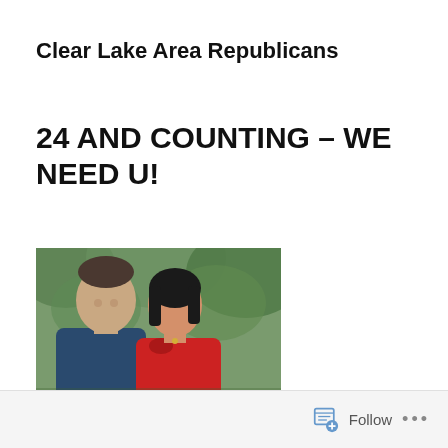Clear Lake Area Republicans
24 AND COUNTING – WE NEED U!
[Figure (photo): A man in a dark blue shirt and a woman in a red dress smiling together outdoors with green trees in the background.]
Follow  •••